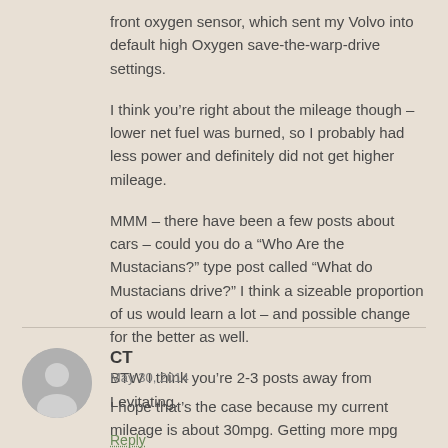front oxygen sensor, which sent my Volvo into default high Oxygen save-the-warp-drive settings.
I think you’re right about the mileage though – lower net fuel was burned, so I probably had less power and definitely did not get higher mileage.
MMM – there have been a few posts about cars – could you do a “Who Are the Mustacians?” type post called “What do Mustacians drive?” I think a sizeable proportion of us would learn a lot – and possible change for the better as well.
BTW I think you’re 2-3 posts away from Levitating.
Reply
CT
May 30, 2014
I hope that’s the case because my current mileage is about 30mpg. Getting more mpg would be awesome. Almost make me want to